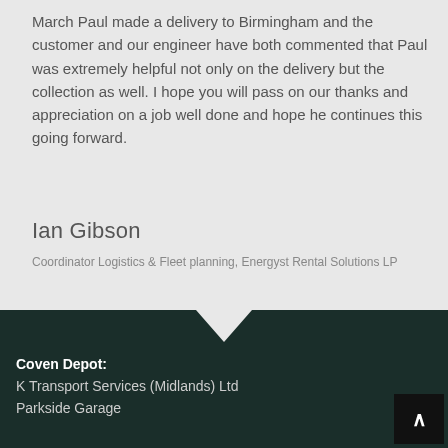March Paul made a delivery to Birmingham and the customer and our engineer have both commented that Paul was extremely helpful not only on the delivery but the collection as well. I hope you will pass on our thanks and appreciation on a job well done and hope he continues this going forward.
Ian Gibson
Coordinator Logistics & Fleet planning, Energyst Rental Solutions LP
Coven Depot: K Transport Services (Midlands) Ltd Parkside Garage